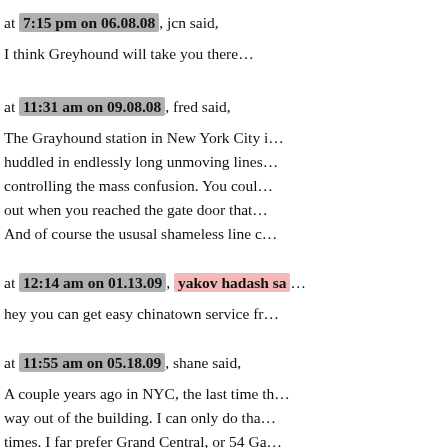at 7:15 pm on 06.08.08, jcn said,
I think Greyhound will take you there…
at 11:31 am on 09.08.08, fred said,
The Grayhound station in New York City i… huddled in endlessly long unmoving lines… controlling the mass confusion. You coul… out when you reached the gate door that… And of course the ususal shameless line c…
at 12:14 am on 01.13.09, yakov hadash sa…
hey you can get easy chinatown service fr…
at 11:55 am on 05.18.09, shane said,
A couple years ago in NYC, the last time th… way out of the building. I can only do tha… times. I far prefer Grand Central, or 54 Ga…